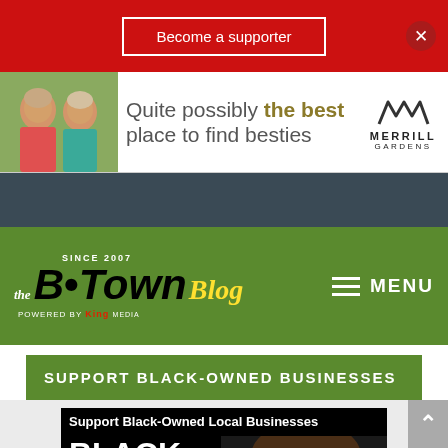Become a supporter
[Figure (photo): Advertisement for Merrill Gardens senior living - two elderly women with text 'Quite possibly the best place to find besties' and Merrill Gardens logo]
[Figure (logo): The B·Town Blog logo - Since 2007, Powered by King Media, on green background with MENU navigation]
SUPPORT BLACK-OWNED BUSINESSES
[Figure (photo): Support Black-Owned Local Businesses image with BLACK LIVES MATTER text overlay and portrait of a Black man, with 'Check Out Our Black' text at bottom]